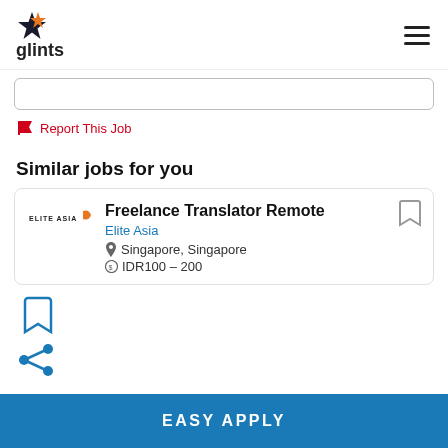glints
[Figure (screenshot): Empty search/input box with rounded border]
Report This Job
Similar jobs for you
[Figure (screenshot): Job card: Freelance Translator Remote at Elite Asia, Singapore, Singapore, IDR100 – 200]
[Figure (other): Bookmark icon]
[Figure (other): Share icon]
EASY APPLY